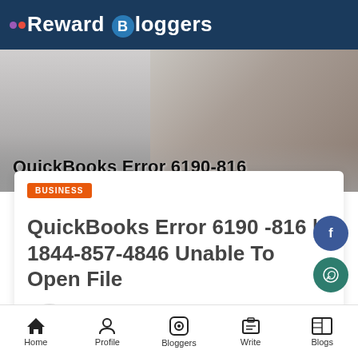Reward Bloggers
[Figure (photo): Hero banner image showing a person working on a laptop with text overlay 'QuickBooks Error 6190-816']
QuickBooks Error 6190 -816 | 1844-857-4846 Unable To Open File
BUSINESS
JOHN LIAM - 11-JUN-2020  AVG. READ: 21336 MIN
Home  Profile  Bloggers  Write  Blogs